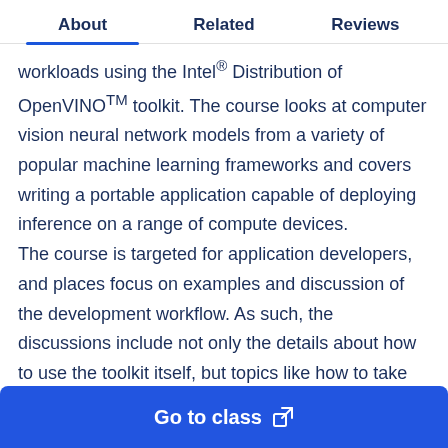About	Related	Reviews
workloads using the Intel® Distribution of OpenVINOTM toolkit. The course looks at computer vision neural network models from a variety of popular machine learning frameworks and covers writing a portable application capable of deploying inference on a range of compute devices. The course is targeted for application developers, and places focus on examples and discussion of the development workflow. As such, the discussions include not only the details about how to use the toolkit itself, but topics like how to take benchmarks to compare compute devices or what to do when you
Go to class